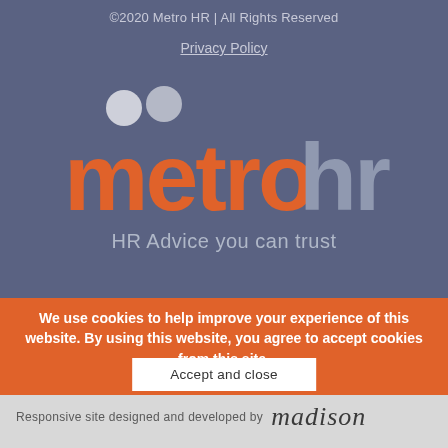©2020 Metro HR | All Rights Reserved
Privacy Policy
[Figure (logo): Metro HR logo: two circular dots above stylized orange 'metro' text and grey 'hr' text, with tagline 'HR Advice you can trust']
We use cookies to help improve your experience of this website. By using this website, you agree to accept cookies from this site.
Accept and close
Responsive site designed and developed by madison